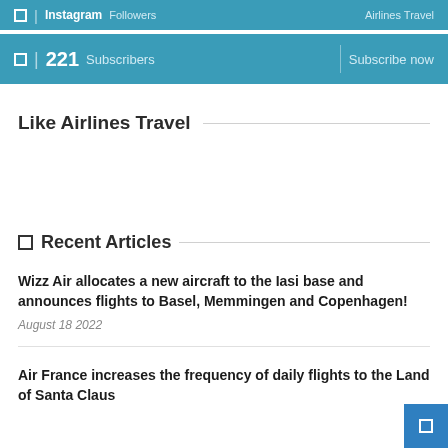Instagram Followers | Airlines Travel
221 Subscribers | Subscribe now
Like Airlines Travel
Recent Articles
Wizz Air allocates a new aircraft to the Iasi base and announces flights to Basel, Memmingen and Copenhagen!
August 18 2022
Air France increases the frequency of daily flights to the Land of Santa Claus